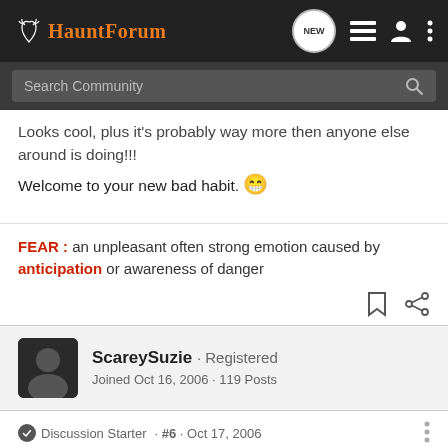HauntForum — NEW [nav icons]
Search Community
Looks cool, plus it's probably way more then anyone else around is doing!!!
Welcome to your new bad habit. 😁
FEAR : an unpleasant often strong emotion caused by anticipation or awareness of danger
ScareySuzie · Registered
Joined Oct 16, 2006 · 119 Posts
Discussion Starter · #6 · Oct 17, 2006
Thanks everyone